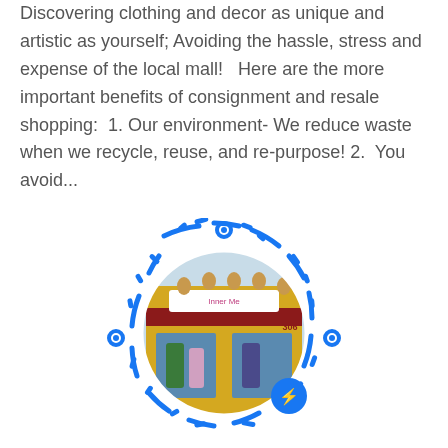Discovering clothing and decor as unique and artistic as yourself; Avoiding the hassle, stress and expense of the local mall!   Here are the more important benefits of consignment and resale shopping:  1. Our environment- We reduce waste when we recycle, reuse, and re-purpose! 2.  You avoid...
[Figure (other): Facebook Messenger QR code with a circular photo of the Inner Me Consignment store front in the center, showing a yellow adobe-style building with red awnings and a store sign reading 'Inner Me Consignment'. A blue Facebook Messenger icon appears at the bottom right of the circular photo.]